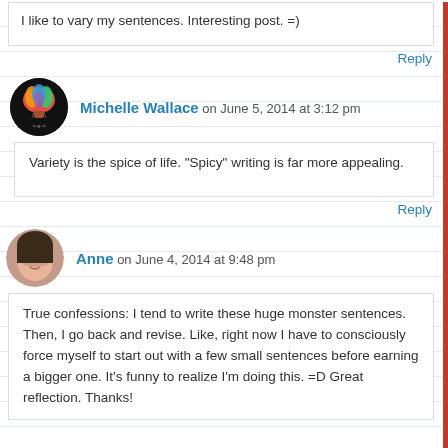I like to vary my sentences. Interesting post. =)
Reply
Michelle Wallace on June 5, 2014 at 3:12 pm
Variety is the spice of life. "Spicy" writing is far more appealing.
Reply
Anne on June 4, 2014 at 9:48 pm
True confessions: I tend to write these huge monster sentences. Then, I go back and revise. Like, right now I have to consciously force myself to start out with a few small sentences before earning a bigger one. It's funny to realize I'm doing this. =D Great reflection. Thanks!